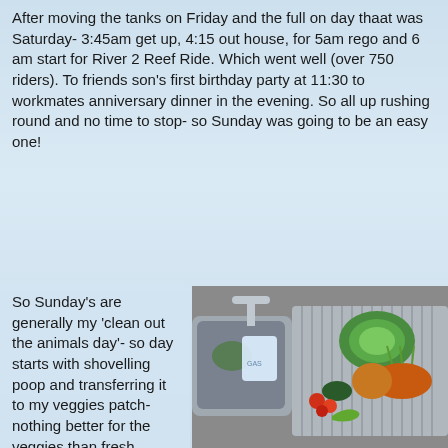After moving the tanks on Friday and the full on day thaat was Saturday- 3:45am get up, 4:15 out house, for 5am rego and 6 am start for River 2 Reef Ride. Which went well (over 750 riders). To friends son's first birthday party at 11:30 to workmates anniversary dinner in the evening. So all up rushing round and no time to stop- so Sunday was going to be an easy one!
So Sunday's are generally my 'clean out the animals day'- so day starts with shovelling poop and transferring it to my veggies patch- nothing better for the veggies than fresh
[Figure (photo): A kitchen sink draining board with fresh vegetables including lettuce, carrots, tomatoes, zucchini, onion, and a green chili pepper]